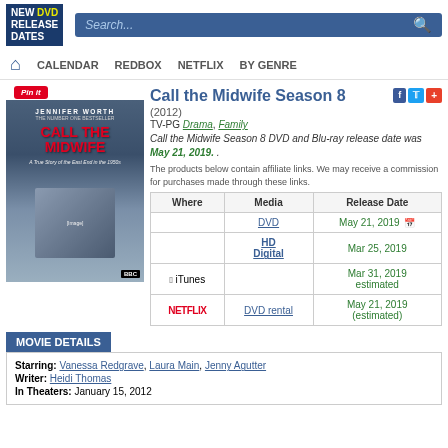NEW DVD RELEASE DATES — Search bar with navigation: CALENDAR, REDBOX, NETFLIX, BY GENRE
[Figure (photo): Book/DVD cover for Call the Midwife by Jennifer Worth]
Call the Midwife Season 8
(2012)
TV-PG Drama, Family
Call the Midwife Season 8 DVD and Blu-ray release date was May 21, 2019. .
The products below contain affiliate links. We may receive a commission for purchases made through these links.
| Where | Media | Release Date |
| --- | --- | --- |
|  | DVD | May 21, 2019 🗓 |
|  | HD Digital | Mar 25, 2019 |
| iTunes |  | Mar 31, 2019 estimated |
| NETFLIX | DVD rental | May 21, 2019 (estimated) |
MOVIE DETAILS
Starring: Vanessa Redgrave, Laura Main, Jenny Agutter
Writer: Heidi Thomas
In Theaters: January 15, 2012